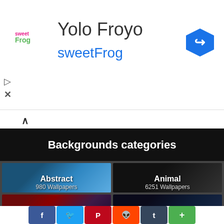[Figure (screenshot): Ad banner for sweetFrog frozen yogurt with logo, title 'Yolo Froyo', subtitle 'sweetFrog', and navigation arrow icon]
Backgrounds categories
[Figure (screenshot): Grid of wallpaper categories: Abstract (980 Wallpapers), Animal (6251 Wallpapers), Anime (6339 Wallpapers), Art (2... Wallpapers)]
[Figure (infographic): Social sharing bar with Facebook, Twitter, Pinterest, Reddit, Tumblr, and More buttons]